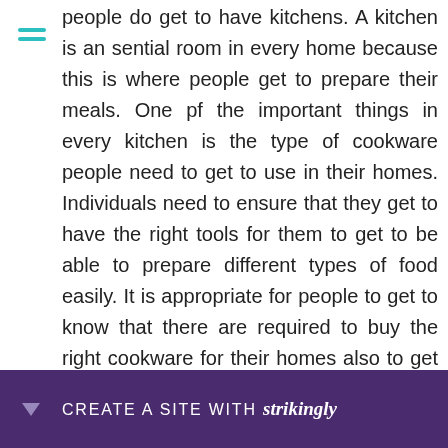people do get to have kitchens. A kitchen is an sential room in every home because this is where people get to prepare their meals. One pf the important things in every kitchen is the type of cookware people need to get to use in their homes. Individuals need to ensure that they get to have the right tools for them to get to be able to prepare different types of food easily. It is appropriate for people to get to know that there are required to buy the right cookware for their homes also to get to improve the quality of their kitchens and worth of their homes. Also, in restaurants, it is important for employers to ensure that they get to buy their employees the right kind of cookware they shou... easier and f...
[Figure (other): Purple banner at bottom of page with dropdown arrow icon and text 'CREATE A SITE WITH strikingly']